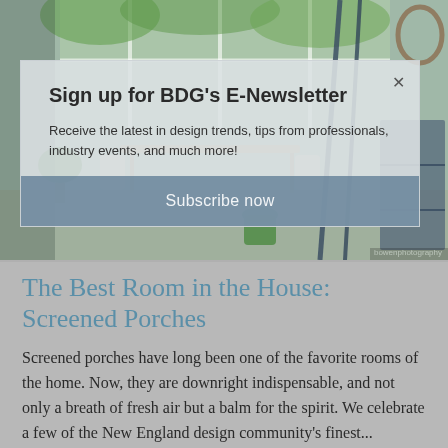[Figure (photo): Interior photo of a bright screened porch with dining table, chairs, plant, green stool, rowing oars leaning against wall, and a shelf unit with books and plants.]
Sign up for BDG's E-Newsletter
Receive the latest in design trends, tips from professionals, industry events, and much more!
Subscribe now
The Best Room in the House: Screened Porches
Screened porches have long been one of the favorite rooms of the home. Now, they are downright indispensable, and not only a breath of fresh air but a balm for the spirit. We celebrate a few of the New England design community's finest...  Barnstable Barn Home by